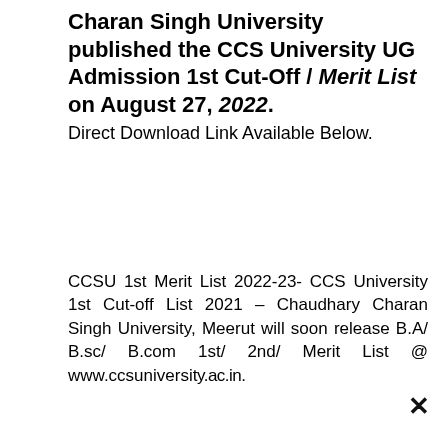Charan Singh University published the CCS University UG Admission 1st Cut-Off / Merit List on August 27, 2022. Direct Download Link Available Below.
CCSU 1st Merit List 2022-23- CCS University 1st Cut-off List 2021 – Chaudhary Charan Singh University, Meerut will soon release B.A/ B.sc/ B.com 1st/ 2nd/ Merit List @ www.ccsuniversity.ac.in.